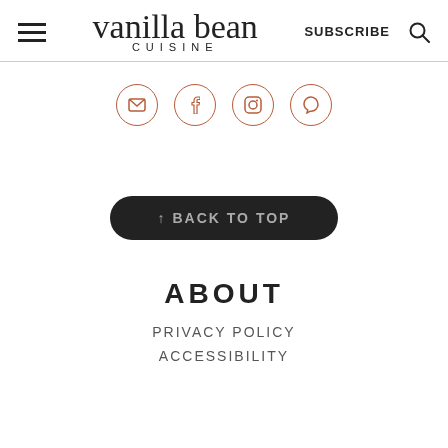vanilla bean CUISINE | SUBSCRIBE | search
[Figure (infographic): Four social media icon circles: email, facebook, instagram, pinterest. Outlined in terracotta/rust color.]
[Figure (infographic): Dark pill-shaped button with text: ↑ BACK TO TOP]
ABOUT
PRIVACY POLICY
ACCESSIBILITY